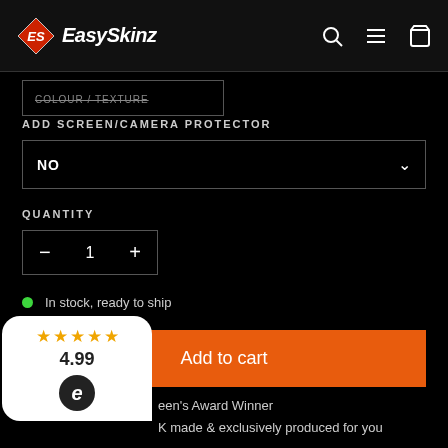[Figure (logo): EasySkinz logo with diamond icon and italic bold text, plus navigation icons (search, menu, cart) on the right]
COLOUR / TEXTURE
ADD SCREEN/CAMERA PROTECTOR
NO
QUANTITY
1
In stock, ready to ship
Add to cart
[Figure (other): Rating badge showing 5 stars, 4.99 score and Ekomi circle logo]
een's Award Winner
K made & exclusively produced for you